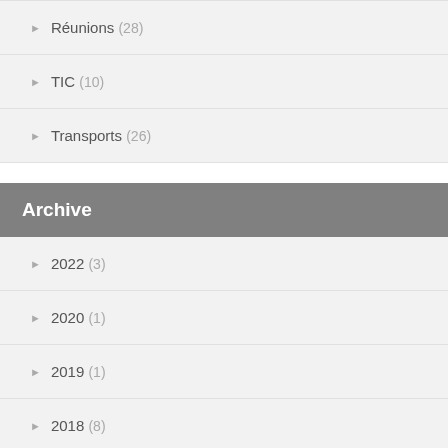Réunions (28)
TIC (10)
Transports (26)
Archive
2022 (3)
2020 (1)
2019 (1)
2018 (8)
2017 (20)